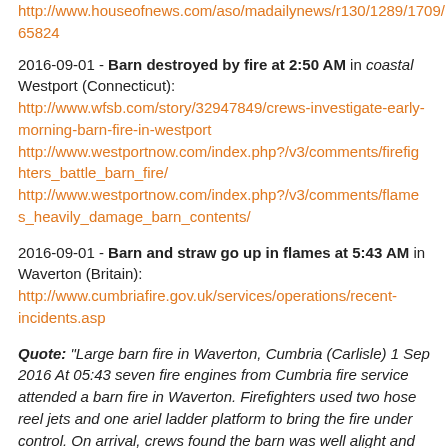http://www.houseofnews.com/aso/madailynews/r130/1289/1709/65824
2016-09-01 - Barn destroyed by fire at 2:50 AM in coastal Westport (Connecticut): http://www.wfsb.com/story/32947849/crews-investigate-early-morning-barn-fire-in-westport http://www.westportnow.com/index.php?/v3/comments/firefighters_battle_barn_fire/ http://www.westportnow.com/index.php?/v3/comments/flames_heavily_damage_barn_contents/
2016-09-01 - Barn and straw go up in flames at 5:43 AM in Waverton (Britain): http://www.cumbriafire.gov.uk/services/operations/recent-incidents.asp
Quote: "Large barn fire in Waverton, Cumbria (Carlisle) 1 Sep 2016 At 05:43 seven fire engines from Cumbria fire service attended a barn fire in Waverton. Firefighters used two hose reel jets and one ariel ladder platform to bring the fire under control. On arrival, crews found the barn was well alight and contained large amounts of straw and silage."